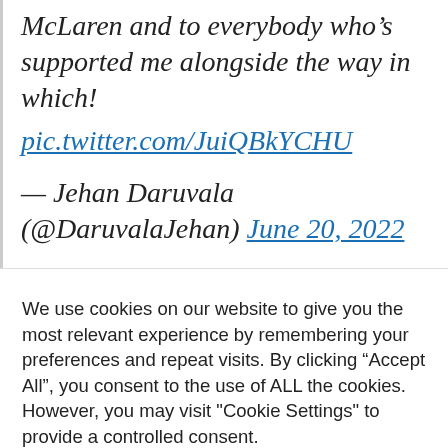McLaren and to everybody who's supported me alongside the way in which! pic.twitter.com/JuiQBkYCHU

— Jehan Daruvala (@DaruvalaJehan) June 20, 2022
We use cookies on our website to give you the most relevant experience by remembering your preferences and repeat visits. By clicking "Accept All", you consent to the use of ALL the cookies. However, you may visit "Cookie Settings" to provide a controlled consent.